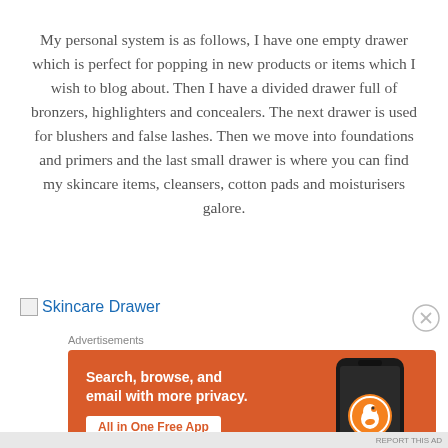My personal system is as follows, I have one empty drawer which is perfect for popping in new products or items which I wish to blog about. Then I have a divided drawer full of bronzers, highlighters and concealers. The next drawer is used for blushers and false lashes. Then we move into foundations and primers and the last small drawer is where you can find my skincare items, cleansers, cotton pads and moisturisers galore.
[Figure (other): Link with broken image icon labeled 'Skincare Drawer']
[Figure (screenshot): Advertisement banner for DuckDuckGo: 'Search, browse, and email with more privacy. All in One Free App' with phone graphic showing DuckDuckGo logo]